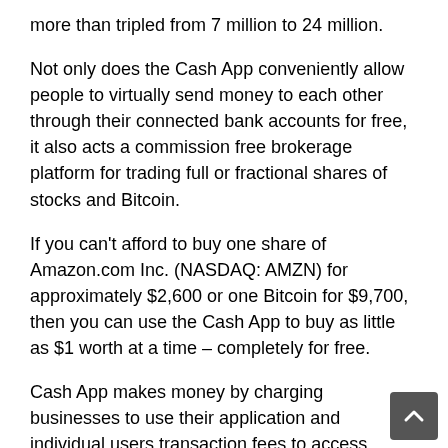more than tripled from 7 million to 24 million.
Not only does the Cash App conveniently allow people to virtually send money to each other through their connected bank accounts for free, it also acts a commission free brokerage platform for trading full or fractional shares of stocks and Bitcoin.
If you can't afford to buy one share of Amazon.com Inc. (NASDAQ: AMZN) for approximately $2,600 or one Bitcoin for $9,700, then you can use the Cash App to buy as little as $1 worth at a time – completely for free.
Cash App makes money by charging businesses to use their application and individual users transaction fees to access additional services. And in fiscal 2019, Cash App revenues jumped 157% year-over-year to $1.1 billion.
After falling 55% with the market during the recent coronavirus correction, SQ stock has significantly outperformed.